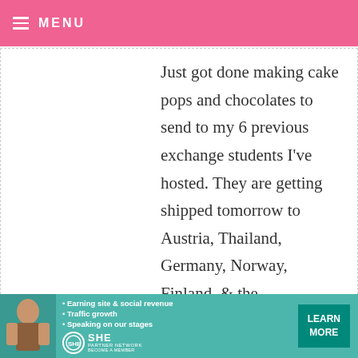MENU
Just got done making cake pops and chocolates to send to my 6 previous exchange students I've hosted. They are getting shipped tomorrow to Austria, Thailand, Germany, Norway, Finland, & the Netherlands.
TERRY GALBRAITH — DECEMBER 10, 2012 @ 12:39 AM REPLY
The last gift I just finished making is a
[Figure (infographic): SHE Partner Network advertisement banner with woman photo, bullet points about earning site & social revenue, traffic growth, speaking on stages, SHE logo, and Learn More button]